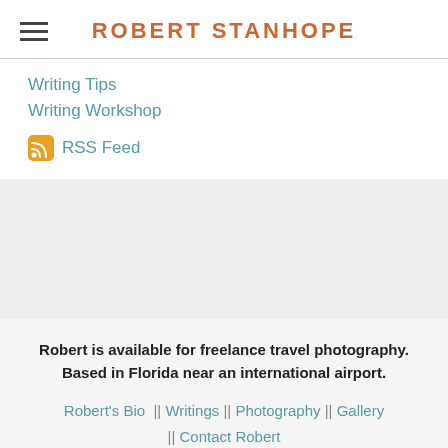ROBERT STANHOPE
Writing Tips
Writing Workshop
RSS Feed
Robert is available for freelance travel photography. Based in Florida near an international airport.
Robert's Bio  ||  Writings  ||  Photography  ||  Gallery  ||  Contact Robert